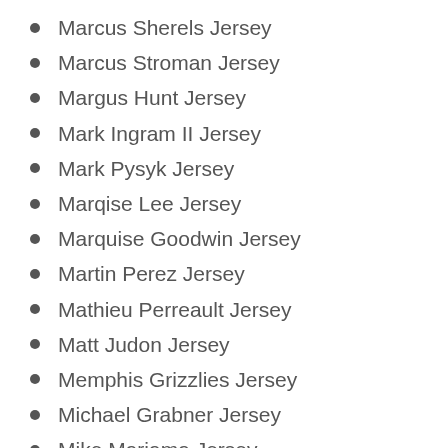Marcus Sherels Jersey
Marcus Stroman Jersey
Margus Hunt Jersey
Mark Ingram II Jersey
Mark Pysyk Jersey
Marqise Lee Jersey
Marquise Goodwin Jersey
Martin Perez Jersey
Mathieu Perreault Jersey
Matt Judon Jersey
Memphis Grizzlies Jersey
Michael Grabner Jersey
Mike Marjama Jersey
Nathan Shepherd Jersey